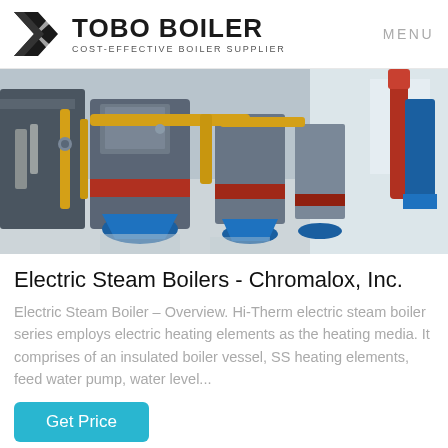TOBO BOILER COST-EFFECTIVE BOILER SUPPLIER | MENU
[Figure (photo): Industrial boiler room with multiple electric steam boilers featuring yellow pipes, blue bases, and red accents on a polished floor.]
Electric Steam Boilers - Chromalox, Inc.
Electric Steam Boiler – Overview. Hi-Therm electric steam boiler series employs electric heating elements as the heating media. It comprises of an insulated boiler vessel, SS heating elements, feed water pump, water level...
Get Price